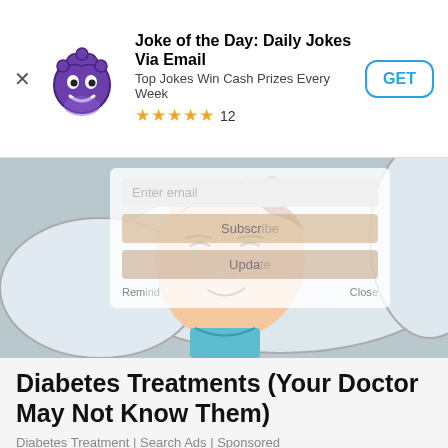[Figure (screenshot): App store ad banner for 'Joke of the Day: Daily Jokes Via Email' with jester icon, 5-star rating of 12 reviews, and GET button]
[Figure (illustration): Cartoon illustration of a person lying in bed sweating, resting on a white pillow, overlaid with a semi-transparent email subscription form]
Diabetes Treatments (Your Doctor May Not Know Them)
Diabetes Treatment | Search Ads | Sponsored